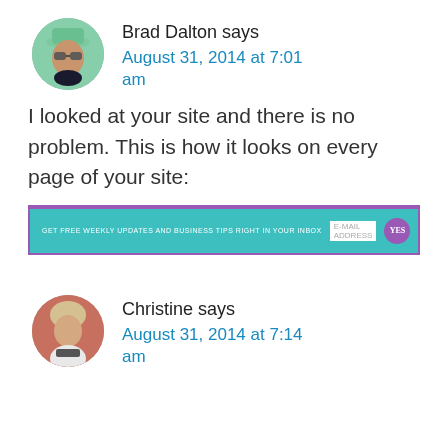Brad Dalton says
August 31, 2014 at 7:01 am
I looked at your site and there is no problem. This is how it looks on every page of your site:
[Figure (screenshot): Screenshot of a website banner with teal background, purple border, text 'GET FREE WEEKLY UPDATES AND BUSINESS TIPS RIGHT IN YOUR INBOX', an email input field, and a purple YES button.]
Christine says
August 31, 2014 at 7:14 am